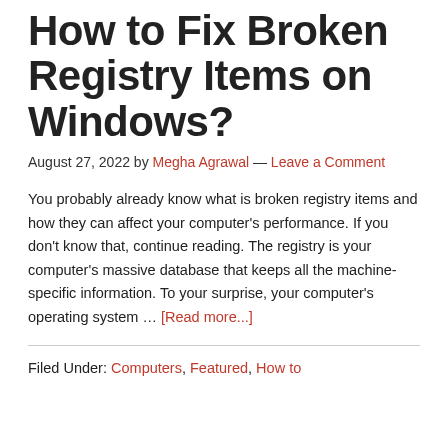How to Fix Broken Registry Items on Windows?
August 27, 2022 by Megha Agrawal — Leave a Comment
You probably already know what is broken registry items and how they can affect your computer's performance. If you don't know that, continue reading. The registry is your computer's massive database that keeps all the machine-specific information. To your surprise, your computer's operating system … [Read more...]
Filed Under: Computers, Featured, How to